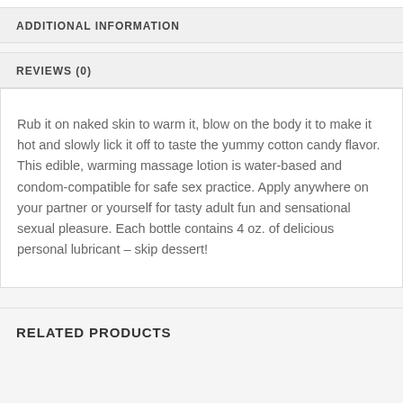ADDITIONAL INFORMATION
REVIEWS (0)
Rub it on naked skin to warm it, blow on the body it to make it hot and slowly lick it off to taste the yummy cotton candy flavor. This edible, warming massage lotion is water-based and condom-compatible for safe sex practice. Apply anywhere on your partner or yourself for tasty adult fun and sensational sexual pleasure. Each bottle contains 4 oz. of delicious personal lubricant – skip dessert!
RELATED PRODUCTS